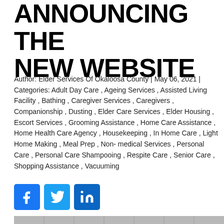ANNOUNCING THE NEW WEBSITE
Author: Elder Services Of Okaloosa County | May 06, 2021 | Categories: Adult Day Care , Ageing Services , Assisted Living Facility , Bathing , Caregiver Services , Caregivers , Companionship , Dusting , Elder Care Services , Elder Housing , Escort Services , Grooming Assistance , Home Care Assistance , Home Health Care Agency , Housekeeping , In Home Care , Light Home Making , Meal Prep , Non-medical Services , Personal Care , Personal Care Shampooing , Respite Care , Senior Care , Shopping Assistance , Vacuuming
[Figure (other): Social media share icons: Facebook (blue), Twitter (light blue), LinkedIn (dark blue)]
[Figure (screenshot): Preview image of a webpage showing a gray background with a red banner reading ANNOUNCING THE NEW WEBSITE and a scroll-to-top button in the bottom right]